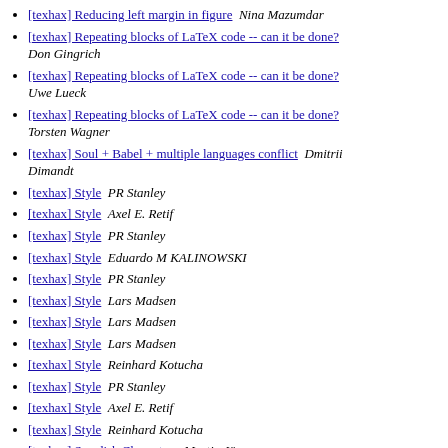[texhax] Reducing left margin in figure  Nina Mazumdar
[texhax] Repeating blocks of LaTeX code -- can it be done?  Don Gingrich
[texhax] Repeating blocks of LaTeX code -- can it be done?  Uwe Lueck
[texhax] Repeating blocks of LaTeX code -- can it be done?  Torsten Wagner
[texhax] Soul + Babel + multiple languages conflict  Dmitrii Dimandt
[texhax] Style  PR Stanley
[texhax] Style  Axel E. Retif
[texhax] Style  PR Stanley
[texhax] Style  Eduardo M KALINOWSKI
[texhax] Style  PR Stanley
[texhax] Style  Lars Madsen
[texhax] Style  Lars Madsen
[texhax] Style  Lars Madsen
[texhax] Style  Reinhard Kotucha
[texhax] Style  PR Stanley
[texhax] Style  Axel E. Retif
[texhax] Style  Reinhard Kotucha
[texhax] Swedish Characters  Martin Jönsson
[texhax] Swedish Characters  Axel E. Retif
[texhax] tableofcontents  Loeghmon T. Nejad
[texhax] tableofcontents  Tim McKenzie